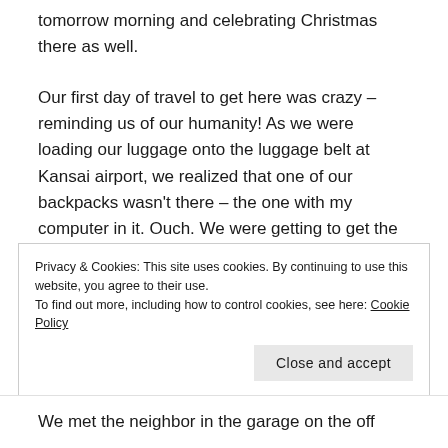tomorrow morning and celebrating Christmas there as well.
Our first day of travel to get here was crazy – reminding us of our humanity!  As we were loading our luggage onto the luggage belt at Kansai airport, we realized that one of our backpacks wasn't there – the one with my computer in it.  Ouch.  We were getting to get the battery replaced in Hawaii, and I was hoping to make several photo albums for some Sanda friends.  Bummer.  While we were waiting for our boarding passes to get printed, I checked all of
Privacy & Cookies: This site uses cookies. By continuing to use this website, you agree to their use.
To find out more, including how to control cookies, see here: Cookie Policy
Close and accept
We met the neighbor in the garage on the off